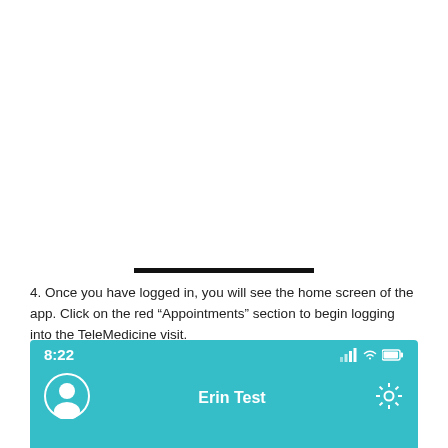[Figure (other): Blank white space at top of page (continuation from previous page content)]
4. Once you have logged in, you will see the home screen of the app. Click on the red “Appointments” section to begin logging into the TeleMedicine visit.
[Figure (screenshot): Mobile app screenshot showing a teal/cyan header bar with status bar displaying time 8:22 and signal/wifi/battery icons, a circular user profile icon on the left, the name Erin Test in the center, and a gear/settings icon on the right.]